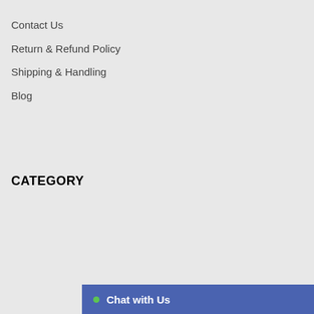Contact Us
Return & Refund Policy
Shipping & Handling
Blog
CATEGORY
Chat with Us